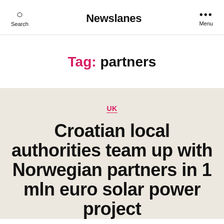Search | Newslanes | Menu
Tag: partners
UK
Croatian local authorities team up with Norwegian partners in 1 mln euro solar power project